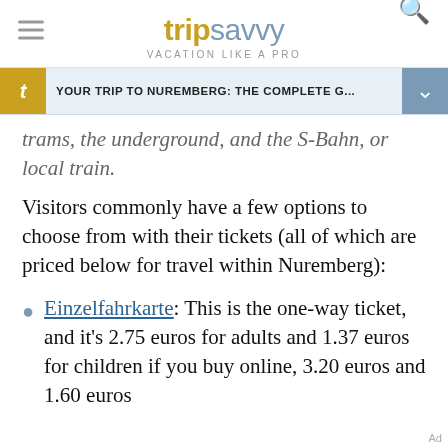tripsavvy VACATION LIKE A PRO
YOUR TRIP TO NUREMBERG: THE COMPLETE G...
trams, the underground, and the S-Bahn, or local train.
Visitors commonly have a few options to choose from with their tickets (all of which are priced below for travel within Nuremberg):
Einzelfahrkarte: This is the one-way ticket, and it's 2.75 euros for adults and 1.37 euros for children if you buy online, 3.20 euros and 1.60 euros